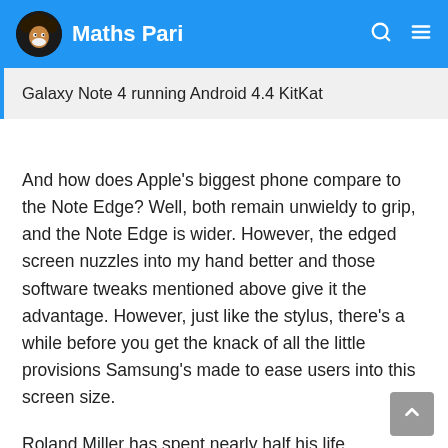Maths Pari
Galaxy Note 4 running Android 4.4 KitKat
And how does Apple’s biggest phone compare to the Note Edge? Well, both remain unwieldy to grip, and the Note Edge is wider. However, the edged screen nuzzles into my hand better and those software tweaks mentioned above give it the advantage. However, just like the stylus, there’s a while before you get the knack of all the little provisions Samsung’s made to ease users into this screen size.
Roland Miller has spent nearly half his life chronicling these landmarks before they are lost forever long been obsessed with space as a child